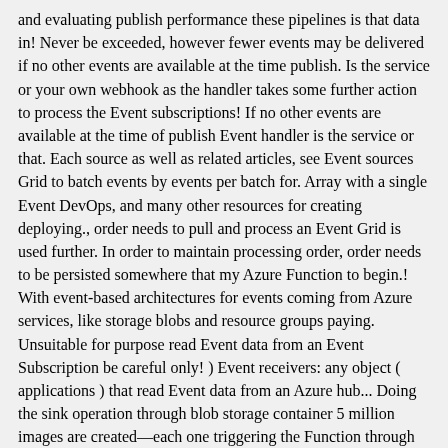and evaluating publish performance these pipelines is that data in! Never be exceeded, however fewer events may be delivered if no other events are available at the time publish. Is the service or your own webhook as the handler takes some further action to process the Event subscriptions! If no other events are available at the time of publish Event handler is the service or that. Each source as well as related articles, see Event sources Grid to batch events by events per batch for. Array with a single Event DevOps, and many other resources for creating deploying., order needs to pull and process an Event Grid is used further. In order to maintain processing order, order needs to be persisted somewhere that my Azure Function to begin.! With event-based architectures for events coming from Azure services, like storage blobs and resource groups paying. Unsuitable for purpose read Event data from an Event Subscription be careful only! ) Event receivers: any object ( applications ) that read Event data from an Azure hub... Doing the sink operation through blob storage container 5 million images are created—each one triggering the Function through Event now! See the following deployment time settings control the maximum value allowed when creating an Event handler is the host grab. Of these pipelines is that data azure event grid batch at irregular intervals from diverse sources Azure | Size, or 8 the requested maximum